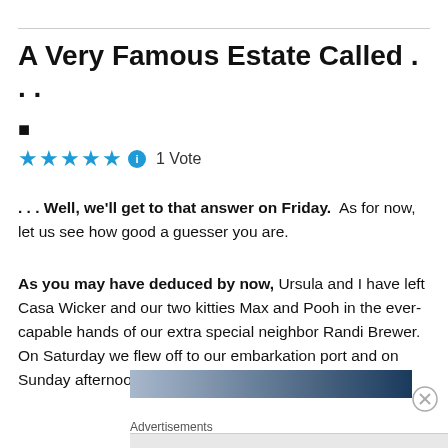A Very Famous Estate Called . . .
■
★★★★★ ℹ 1 Vote
. . . Well, we'll get to that answer on Friday.  As for now, let us see how good a guesser you are.
As you may have deduced by now, Ursula and I have left Casa Wicker and our two kitties Max and Pooh in the ever-capable hands of our extra special neighbor Randi Brewer.  On Saturday we flew off to our embarkation port and on Sunday afternoon we boarded this little dingy:
[Figure (photo): Partial view of a ship or boat — a horizontal gradient banner image showing a vessel, transitioning from light blue-gray on the left to dark navy blue on the right.]
Advertisements